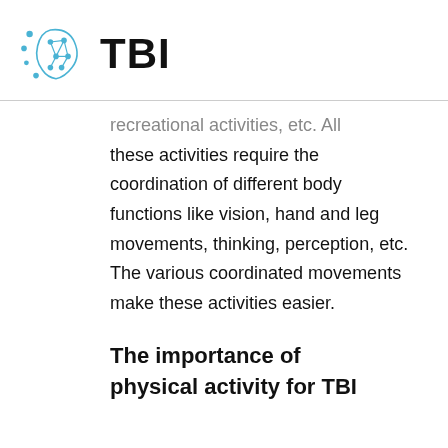TBI
recreational activities, etc. All these activities require the coordination of different body functions like vision, hand and leg movements, thinking, perception, etc. The various coordinated movements make these activities easier.
The importance of physical activity for TBI